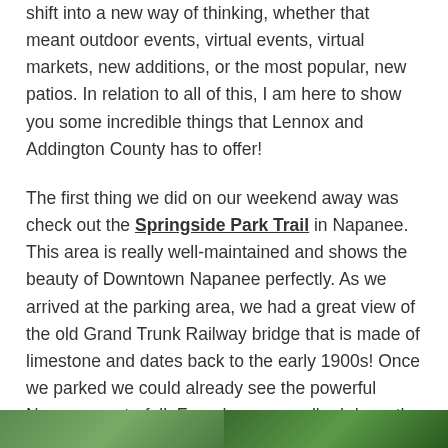shift into a new way of thinking, whether that meant outdoor events, virtual events, virtual markets, new additions, or the most popular, new patios. In relation to all of this, I am here to show you some incredible things that Lennox and Addington County has to offer!
The first thing we did on our weekend away was check out the Springside Park Trail in Napanee. This area is really well-maintained and shows the beauty of Downtown Napanee perfectly. As we arrived at the parking area, we had a great view of the old Grand Trunk Railway bridge that is made of limestone and dates back to the early 1900s! Once we parked we could already see the powerful Napanee waterfall. From here we walked down the trail, passing art installations, information plaques and kiosks, many picnic sites and a great playground.
[Figure (photo): Two partially visible photos at the bottom of the page — appears to show green outdoor/nature scenes]